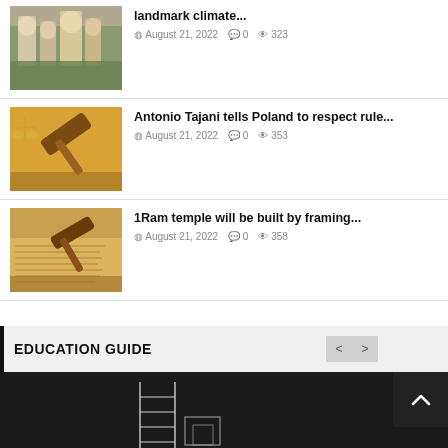landmark climate... August 21, 2022  0  323
Antonio Tajani tells Poland to respect rule... August 21, 2022  0  353
1Ram temple will be built by framing... August 21, 2022  0  358
EDUCATION GUIDE
[Figure (photo): Dark chalkboard background with chalk drawings of a ladder and geometric shapes]